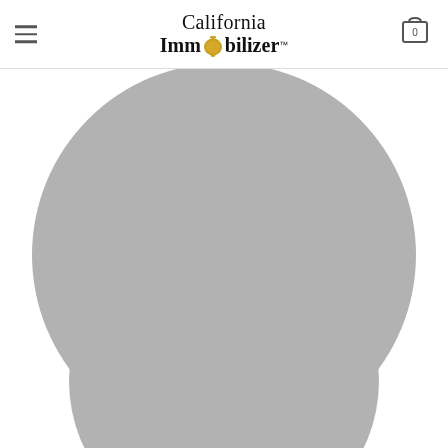California Immobilizer™
[Figure (photo): Profile photo placeholder circle for Lucy Anderson, Co Founder, with gray circular background and social media icons (Facebook, Twitter, Email, LinkedIn)]
LUCY ANDERSON
CO FOUNDER
[Figure (photo): Second profile photo placeholder circle, partially visible at bottom of page, gray circular background]